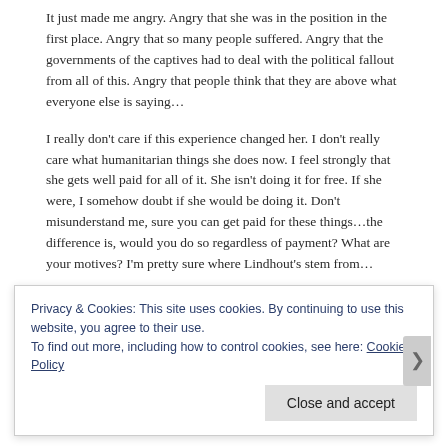It just made me angry. Angry that she was in the position in the first place. Angry that so many people suffered. Angry that the governments of the captives had to deal with the political fallout from all of this. Angry that people think that they are above what everyone else is saying…
I really don't care if this experience changed her. I don't really care what humanitarian things she does now. I feel strongly that she gets well paid for all of it. She isn't doing it for free. If she were, I somehow doubt if she would be doing it. Don't misunderstand me, sure you can get paid for these things…the difference is, would you do so regardless of payment? What are your motives? I'm pretty sure where Lindhout's stem from…
Privacy & Cookies: This site uses cookies. By continuing to use this website, you agree to their use.
To find out more, including how to control cookies, see here: Cookie Policy
Close and accept